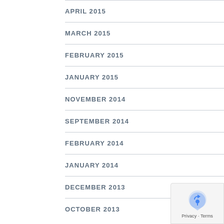APRIL 2015
MARCH 2015
FEBRUARY 2015
JANUARY 2015
NOVEMBER 2014
SEPTEMBER 2014
FEBRUARY 2014
JANUARY 2014
DECEMBER 2013
OCTOBER 2013